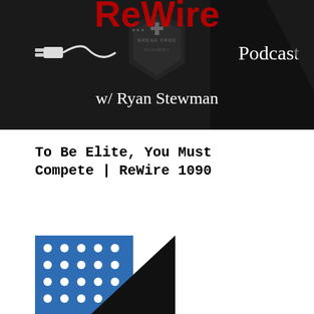[Figure (illustration): ReWire Podcast with Ryan Stewman banner image. Dark background with a shield/crest logo for Break Free Academy. Text reads 'ReWire Podcast w/ Ryan Stewman' in white, with a power plug icon on the left.]
To Be Elite, You Must Compete | ReWire 1090
[Figure (illustration): Partial view of another podcast or promotional image with blue polka-dot pattern and black triangular shape, partially cut off at bottom of page.]